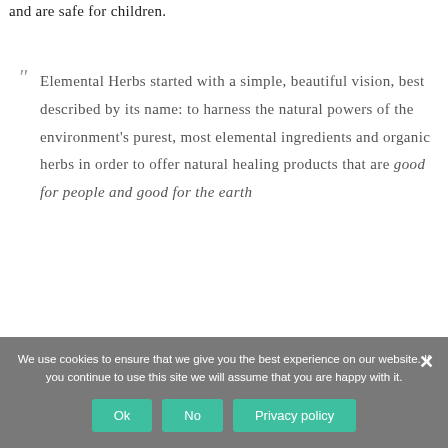and are safe for children.
" Elemental Herbs started with a simple, beautiful vision, best described by its name: to harness the natural powers of the environment's purest, most elemental ingredients and organic herbs in order to offer natural healing products that are good for people and good for the earth
We use cookies to ensure that we give you the best experience on our website. If you continue to use this site we will assume that you are happy with it.
Ok
No
Privacy policy